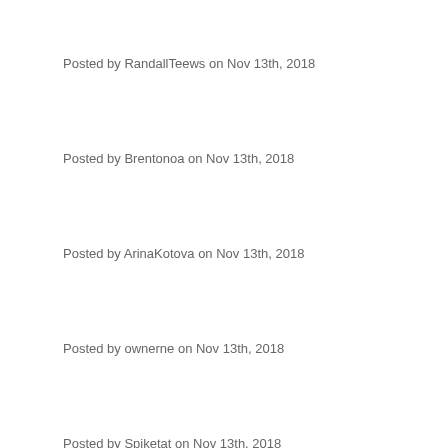Posted by RandallTeews on Nov 13th, 2018
Posted by Brentonoa on Nov 13th, 2018
Posted by ArinaKotova on Nov 13th, 2018
Posted by ownerne on Nov 13th, 2018
Posted by Spiketat on Nov 13th, 2018
Posted by Zarkosser on Nov 13th, 2018
Posted by Free Porn on Nov 13th, 2018
Posted by allorne on Nov 13th, 2018
Posted by Amulpelt on Nov 13th, 2018
Posted by BrontobbLulk on Nov 13th, 2018
Posted by RoyKl on Nov 13th, 2018